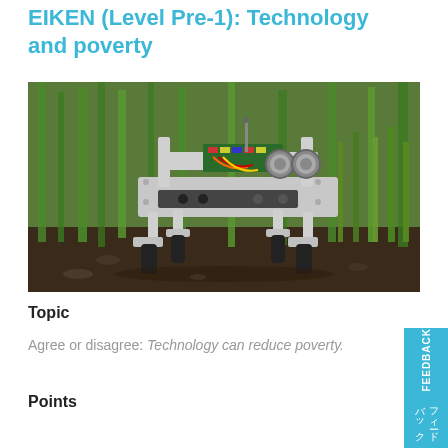EIKEN (Level Pre-1): Technology and poverty
[Figure (photo): A small agricultural robot with metal legs and sensor eyes standing in a field among tall green plants on soil ground]
Topic
Agree or disagree: Technology can reduce poverty.
Points